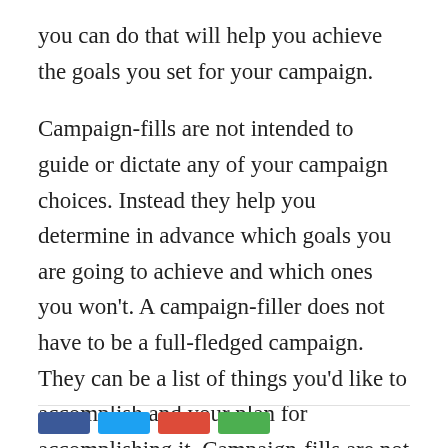you can do that will help you achieve the goals you set for your campaign.
Campaign-fills are not intended to guide or dictate any of your campaign choices. Instead they help you determine in advance which goals you are going to achieve and which ones you won’t. A campaign-filler does not have to be a full-fledged campaign. They can be a list of things you’d like to accomplish and your plan for accomplishing it. Campaign-fills are not supposed to be a substitute for a good campaign. They will never be.